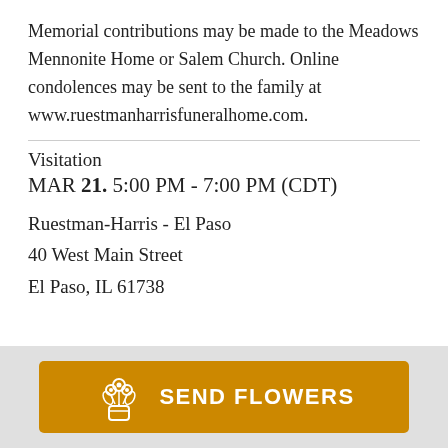Memorial contributions may be made to the Meadows Mennonite Home or Salem Church. Online condolences may be sent to the family at www.ruestmanharrisfuneralhome.com.
Visitation
MAR 21. 5:00 PM - 7:00 PM (CDT)
Ruestman-Harris - El Paso
40 West Main Street
El Paso, IL 61738
[Figure (illustration): Orange 'Send Flowers' button with a bouquet icon in white on an orange background, displayed on a light grey footer bar]